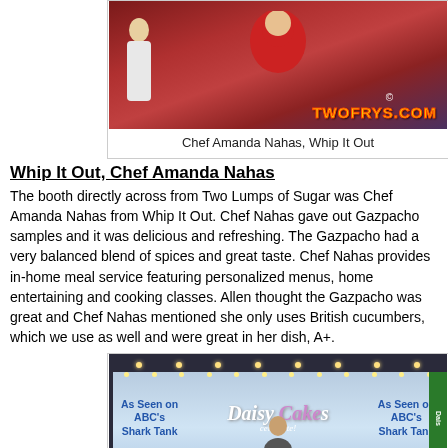[Figure (photo): Chef Amanda Nahas in red chef coat at a booth, with TWOFRYS.COM watermark]
Chef Amanda Nahas, Whip It Out
Whip It Out, Chef Amanda Nahas
The booth directly across from Two Lumps of Sugar was Chef Amanda Nahas from Whip It Out. Chef Nahas gave out Gazpacho samples and it was delicious and refreshing. The Gazpacho had a very balanced blend of spices and great taste. Chef Nahas provides in-home meal service featuring personalized menus, home entertaining and cooking classes. Allen thought the Gazpacho was great and Chef Nahas mentioned she only uses British cucumbers, which we use as well and were great in her dish, A+.
[Figure (photo): Daisy Cakes booth at a fair showing 'As Seen on ABC's Shark Tank' banners on left and right sides with Daisy Cakes logo in center]